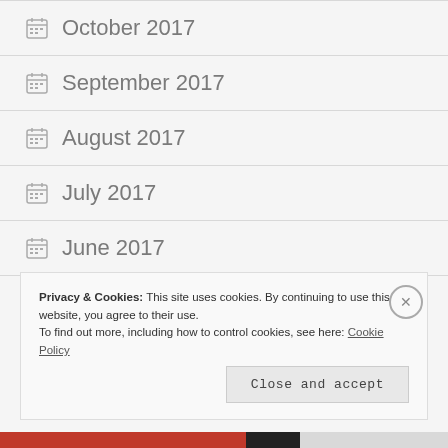October 2017
September 2017
August 2017
July 2017
June 2017
May 2017
Privacy & Cookies: This site uses cookies. By continuing to use this website, you agree to their use.
To find out more, including how to control cookies, see here: Cookie Policy
Close and accept